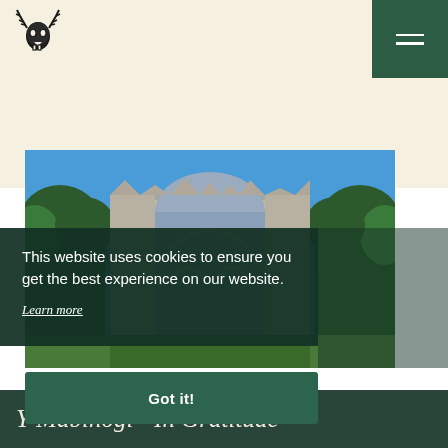Website header with logo and hamburger menu
[Figure (photo): Photo of medieval abbey ruins with Gothic arched windows against a blue sky, surrounded by green trees]
This website uses cookies to ensure you get the best experience on our website.
Learn more
Got it!
Y Mabinogi - In Gratitude